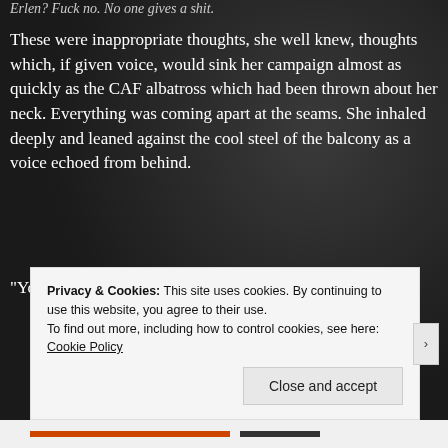Erlen? Fuck no. No one gives a shit.
These were inappropriate thoughts, she well knew, thoughts which, if given voice, would sink her campaign almost as quickly as the CAF albatross which had been thrown about her neck. Everything was coming apart at the seams. She inhaled deeply and leaned against the cool steel of the balcony as a voice echoed from behind.
“You look a little stressed. Did I come in at a bad time?”
Privacy & Cookies: This site uses cookies. By continuing to use this website, you agree to their use.
To find out more, including how to control cookies, see here: Cookie Policy
Close and accept